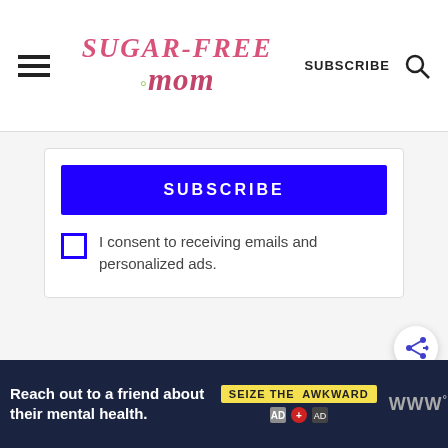[Figure (logo): Sugar-Free Mom website logo with hamburger menu, subscribe text and search icon in header]
SUBSCRIBE
I consent to receiving emails and personalized ads.
[Figure (other): Share button icon (circle with share symbol)]
[Figure (other): Ad banner: Reach out to a friend about their mental health. SEIZE THE AWKWARD logo and brand logos]